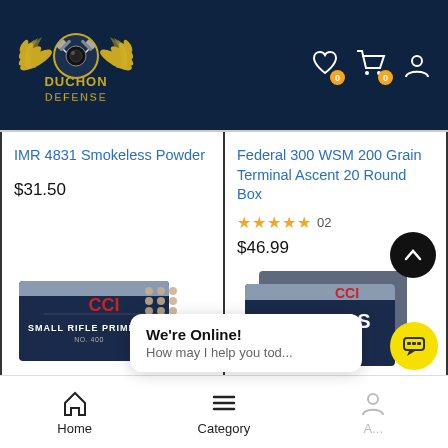[Figure (logo): Duchon Defense logo with yellow eagle wings and crossed guns on dark navy background]
IMR 4831 Smokeless Powder
$31.50
Federal 300 WSM 200 Grain Terminal Ascent 20 Round Box
★★★★★  02
$46.99
[Figure (photo): CCI Small Rifle Primers No. 400 box]
[Figure (photo): CCI Primers 200 Large Rifle box]
We're Online! How may I help you tod...
Home
Category